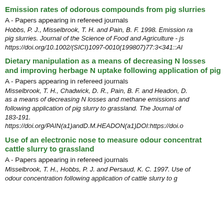Emission rates of odorous compounds from pig slurries
A - Papers appearing in refereed journals
Hobbs, P. J., Misselbrook, T. H. and Pain, B. F. 1998. Emission rates of odorous compounds from pig slurries. Journal of the Science of Food and Agriculture - jsfa. https://doi.org/10.1002/(SICI)1097-0010(199807)77:3<341::AI
Dietary manipulation as a means of decreasing N losses and improving herbage N uptake following application of pig slurry
A - Papers appearing in refereed journals
Misselbrook, T. H., Chadwick, D. R., Pain, B. F. and Headon, D. as a means of decreasing N losses and methane emissions and following application of pig slurry to grassland. The Journal of 183-191. https://doi.org/PAIN(a1)andD.M.HEADON(a1)DOI:https://doi.o
Use of an electronic nose to measure odour concentration following application of cattle slurry to grassland
A - Papers appearing in refereed journals
Misselbrook, T. H., Hobbs, P. J. and Persaud, K. C. 1997. Use of an electronic nose to measure odour concentration following application of cattle slurry to g